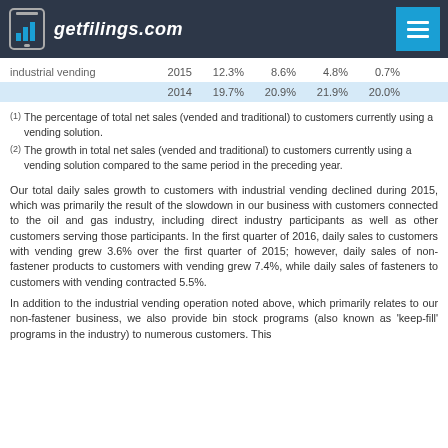getfilings.com
|  | Year | Col1 | Col2 | Col3 | Col4 |
| --- | --- | --- | --- | --- | --- |
| industrial vending | 2015 | 12.3% | 8.6% | 4.8% | 0.7% |
|  | 2014 | 19.7% | 20.9% | 21.9% | 20.0% |
(1) The percentage of total net sales (vended and traditional) to customers currently using a vending solution.
(2) The growth in total net sales (vended and traditional) to customers currently using a vending solution compared to the same period in the preceding year.
Our total daily sales growth to customers with industrial vending declined during 2015, which was primarily the result of the slowdown in our business with customers connected to the oil and gas industry, including direct industry participants as well as other customers serving those participants. In the first quarter of 2016, daily sales to customers with vending grew 3.6% over the first quarter of 2015; however, daily sales of non-fastener products to customers with vending grew 7.4%, while daily sales of fasteners to customers with vending contracted 5.5%.
In addition to the industrial vending operation noted above, which primarily relates to our non-fastener business, we also provide bin stock programs (also known as 'keep-fill' programs in the industry) to numerous customers. This